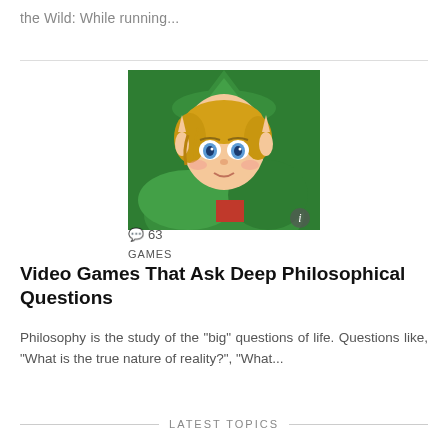the Wild: While running...
[Figure (illustration): Illustration of Link from The Legend of Zelda, close-up portrait with green hat and outfit, blonde hair, blue eyes, pointed ears. Comment count badge showing 63 and GAMES tag overlay.]
Video Games That Ask Deep Philosophical Questions
Philosophy is the study of the "big" questions of life. Questions like, "What is the true nature of reality?", "What...
LATEST TOPICS